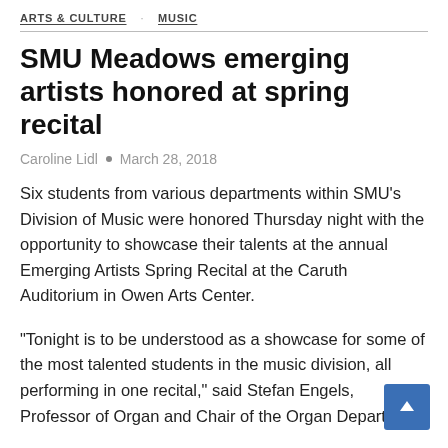ARTS & CULTURE   MUSIC
SMU Meadows emerging artists honored at spring recital
Caroline Lidl  •  March 28, 2018
Six students from various departments within SMU's Division of Music were honored Thursday night with the opportunity to showcase their talents at the annual Emerging Artists Spring Recital at the Caruth Auditorium in Owen Arts Center.
“Tonight is to be understood as a showcase for some of the most talented students in the music division, all performing in one recital,” said Stefan Engels, Professor of Organ and Chair of the Organ Department.
Studio teachers handpicked six students from the 300 that are en...Division of Music...